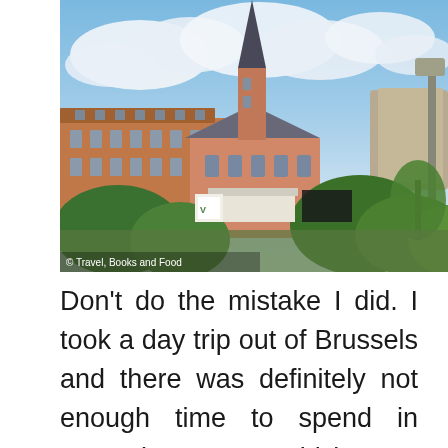[Figure (photo): Photograph of a historic pink/terracotta church with a tall dark spire in Luxembourg, surrounded by older buildings and green trees, under a partly cloudy blue sky. Watermark reads '© Travel, Books and Food'.]
© Travel, Books and Food
Don't do the mistake I did. I took a day trip out of Brussels and there was definitely not enough time to spend in Luxembourg. I would love to visit the country for at least a